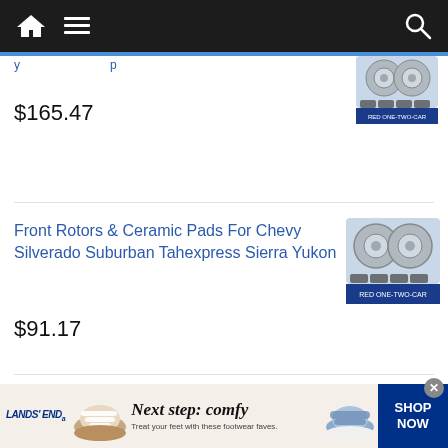Navigation bar with home, menu, and search icons
$165.47
[Figure (photo): Product image of brake rotors and ceramic pads with red brand logo]
Front Rotors & Ceramic Pads For Chevy Silverado Suburban Tahexpress Sierra Yukon
$91.17
[Figure (photo): Product image of front brake rotors and ceramic pads with red brand logo]
[Figure (infographic): Lands' End advertisement: Next step: comfy - Treat your feet with these footwear faves. SHOP NOW with sandal images.]